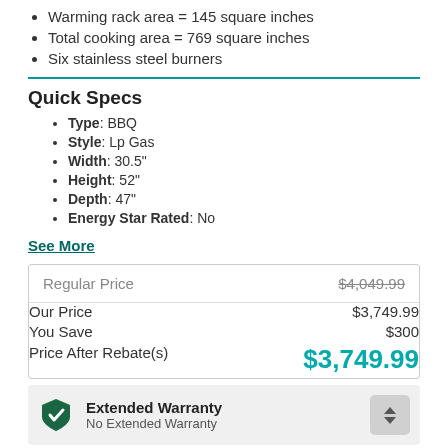Warming rack area = 145 square inches
Total cooking area = 769 square inches
Six stainless steel burners
Quick Specs
Type: BBQ
Style: Lp Gas
Width: 30.5"
Height: 52"
Depth: 47"
Energy Star Rated: No
See More
| Label | Amount |
| --- | --- |
| Regular Price | $4,049.99 |
| Our Price | $3,749.99 |
| You Save | $300 |
| Price After Rebate(s) | $3,749.99 |
Extended Warranty
No Extended Warranty